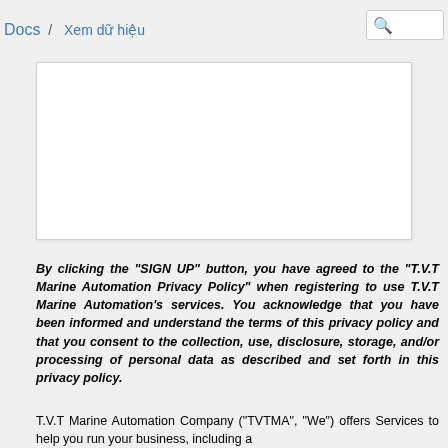Docs / Xem dữ hiệu
[Figure (other): White content box area, empty/placeholder region]
By clicking the "SIGN UP" button, you have agreed to the "T.V.T Marine Automation Privacy Policy" when registering to use T.V.T Marine Automation's services. You acknowledge that you have been informed and understand the terms of this privacy policy and that you consent to the collection, use, disclosure, storage, and/or processing of personal data as described and set forth in this privacy policy.
T.V.T Marine Automation Company ("TVTMA", "We") offers Services to help you run your business, including a